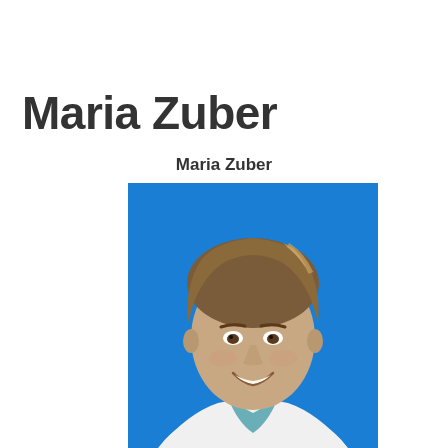Maria Zuber
Maria Zuber
[Figure (photo): Headshot of Maria Zuber, a woman with short brown hair, smiling, wearing a white blazer and teal shirt, against a bright blue background.]